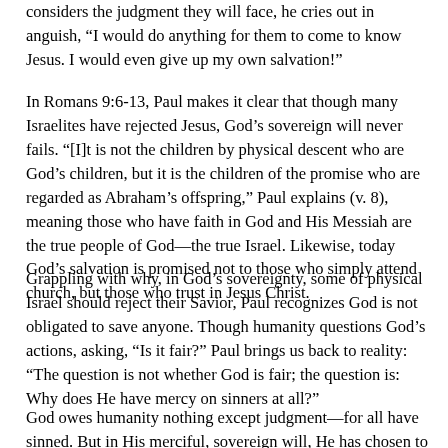considers the judgment they will face, he cries out in anguish, “I would do anything for them to come to know Jesus. I would even give up my own salvation!”
In Romans 9:6-13, Paul makes it clear that though many Israelites have rejected Jesus, God’s sovereign will never fails. “[I]t is not the children by physical descent who are God’s children, but it is the children of the promise who are regarded as Abraham’s offspring,” Paul explains (v. 8), meaning those who have faith in God and His Messiah are the true people of God—the true Israel. Likewise, today God’s salvation is promised not to those who simply attend church, but those who trust in Jesus Christ.
Grappling with why, in God’s sovereignty, some of physical Israel should reject their Savior, Paul recognizes God is not obligated to save anyone. Though humanity questions God’s actions, asking, “Is it fair?” Paul brings us back to reality: “The question is not whether God is fair; the question is: Why does He have mercy on sinners at all?”
God owes humanity nothing except judgment—for all have sinned. But in His merciful, sovereign will, He has chosen to save the undeserving. Therefore, let us rejoice in His mercy and…